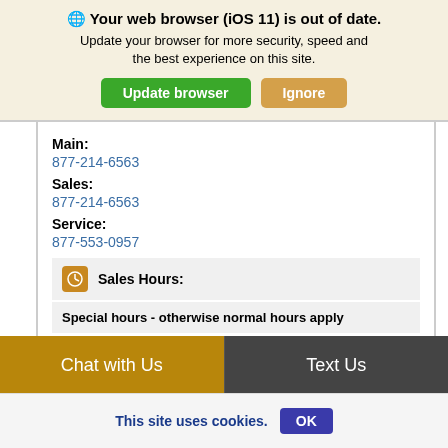[Figure (screenshot): Browser update warning banner with globe icon, bold message 'Your web browser (iOS 11) is out of date.', subtitle text, and two buttons: 'Update browser' (green) and 'Ignore' (tan/gold)]
Main:
877-214-6563
Sales:
877-214-6563
Service:
877-553-0957
Sales Hours:
Special hours - otherwise normal hours apply
Monday, 9/5 only
10:00 AM - 4:00 PM
Chat with Us
Text Us
This site uses cookies.